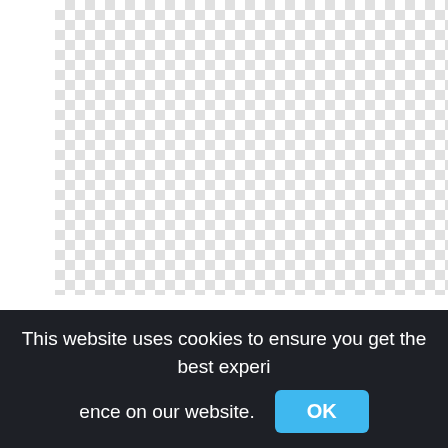[Figure (other): Transparent/empty image area shown as grey and white checkerboard pattern]
Princess Peach Costume, Princess Peach Character Sports,princess tiana png
991x2535px
This website uses cookies to ensure you get the best experience on our website. OK